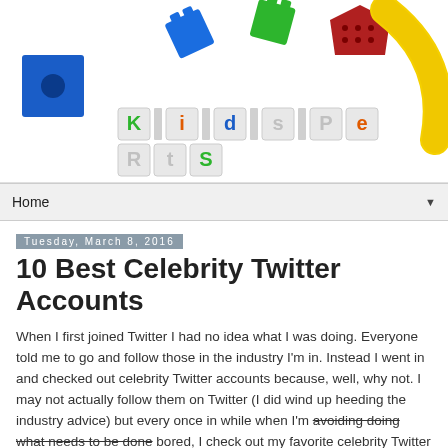[Figure (photo): KidsPerts blog header image with colorful toy blocks/letters spelling 'KidsPeRtS' and a banana on a white background]
Home ▼
Tuesday, March 8, 2016
10 Best Celebrity Twitter Accounts
When I first joined Twitter I had no idea what I was doing. Everyone told me to go and follow those in the industry I'm in. Instead I went in and checked out celebrity Twitter accounts because, well, why not. I may not actually follow them on Twitter (I did wind up heeding the industry advice) but every once in while when I'm avoiding doing what needs to be done bored, I check out my favorite celebrity Twitter accounts.
So which are the most entertaining? Here's the celebrity